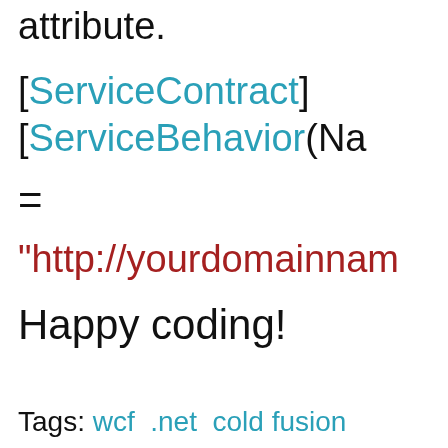attribute.
[ServiceContract]
[ServiceBehavior(Na
=
"http://yourdomainnam
Happy coding!
Tags: wcf .net cold fusion